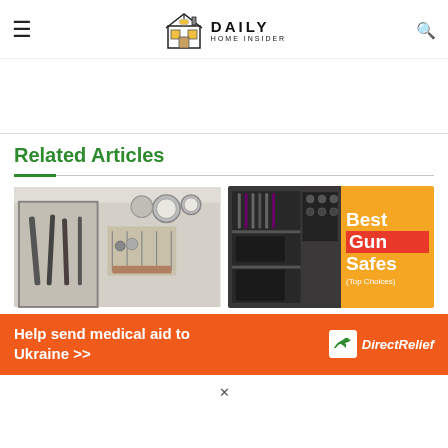Daily Home Insider
Related Articles
[Figure (photo): Thumbnail image of gun wall display with clocks and organization accessories in a room]
[Figure (photo): Thumbnail of an open gun safe showing firearms and accessories inside, with orange 'Best Gun Safes (Top Choices)' label overlay]
[Figure (infographic): Orange advertisement banner: 'Help send medical aid to Ukraine >>' with Direct Relief logo]